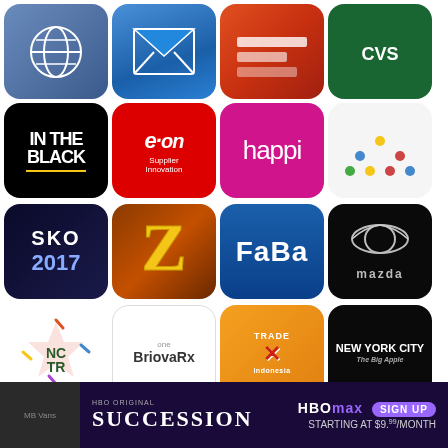[Figure (screenshot): Grid of mobile app icons including In The Black, e.on Supplier Innovation, happi, SKO 2017, FaBa, Mazda, NCTR, oneBriovaRx, Trade Expo Indonesia, New York City, Gouden Stier 2016, San Antonio, LIVE, Seven Days at Rabobank, and an HBO Max Succession advertisement banner at the bottom.]